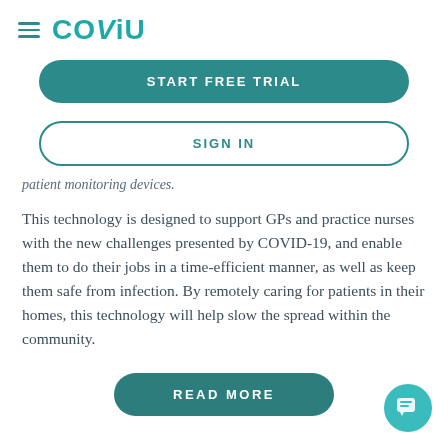COVIU
START FREE TRIAL
SIGN IN
patient monitoring devices.
This technology is designed to support GPs and practice nurses with the new challenges presented by COVID-19, and enable them to do their jobs in a time-efficient manner, as well as keep them safe from infection. By remotely caring for patients in their homes, this technology will help slow the spread within the community.
READ MORE
[Figure (illustration): Teal circular chat bubble icon button in bottom-right corner]